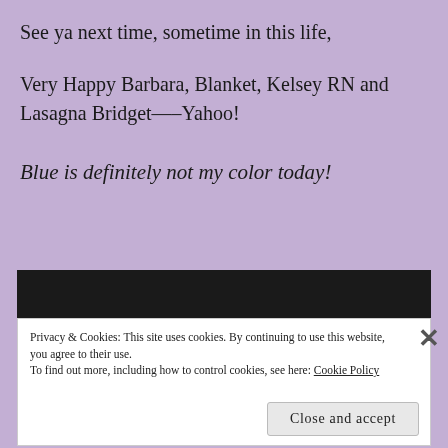See ya next time, sometime in this life,
Very Happy Barbara, Blanket, Kelsey RN and Lasagna Bridget—–Yahoo!
Blue is definitely not my color today!
Privacy & Cookies: This site uses cookies. By continuing to use this website, you agree to their use.
To find out more, including how to control cookies, see here: Cookie Policy
Close and accept